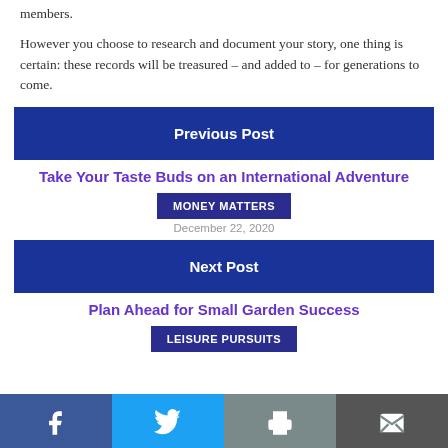members.
However you choose to research and document your story, one thing is certain: these records will be treasured – and added to – for generations to come.
Previous Post
Take Your Taste Buds on an International Adventure
MONEY MATTERS
December 22, 2020
Next Post
Plan Ahead for Small Garden Success
LEISURE PURSUITS